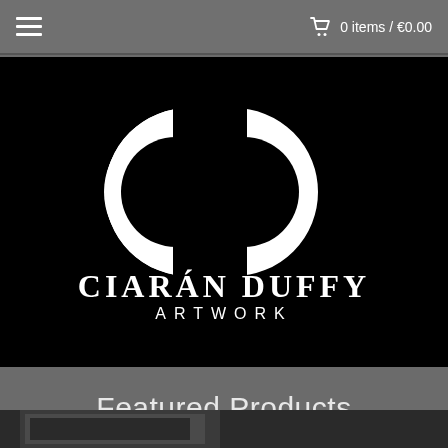0 items / €0.00
[Figure (logo): Ciarán Duffy Artwork logo — white CD monogram and text on black background]
Featured Products
[Figure (photo): Partial view of a product image at the bottom of the page]